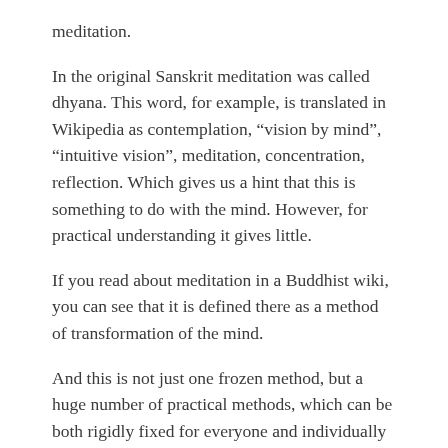meditation.
In the original Sanskrit meditation was called dhyana. This word, for example, is translated in Wikipedia as contemplation, “vision by mind”, “intuitive vision”, meditation, concentration, reflection. Which gives us a hint that this is something to do with the mind. However, for practical understanding it gives little.
If you read about meditation in a Buddhist wiki, you can see that it is defined there as a method of transformation of the mind.
And this is not just one frozen method, but a huge number of practical methods, which can be both rigidly fixed for everyone and individually applied depending on the mind of the practitioner.
Buddhism, which most closely uses the methods of meditation and studies them a lot, emerged in about